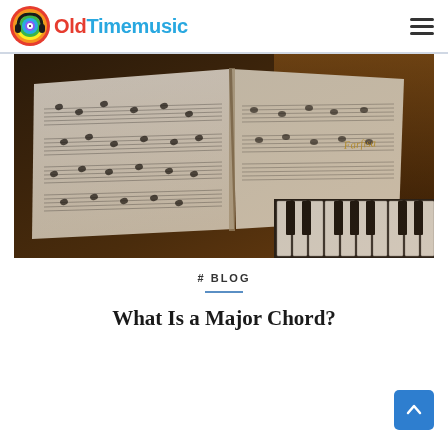OldTimemusic
[Figure (photo): Open sheet music book resting on a wooden piano with piano keys visible in the foreground and right side.]
# BLOG
What Is a Major Chord?